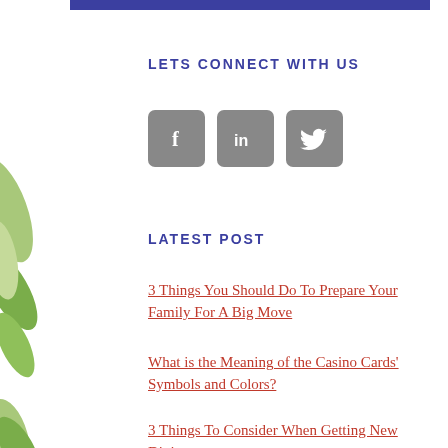LETS CONNECT WITH US
[Figure (infographic): Three social media icon buttons: Facebook (f), LinkedIn (in), Twitter (bird icon), displayed as grey rounded squares]
LATEST POST
3 Things You Should Do To Prepare Your Family For A Big Move
What is the Meaning of the Casino Cards' Symbols and Colors?
3 Things To Consider When Getting New Dining